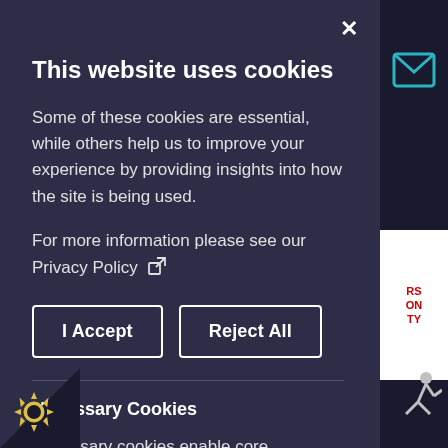This website uses cookies
Some of these cookies are essential, while others help us to improve your experience by providing insights into how the site is being used.
For more information please see our Privacy Policy [external link icon]
I Accept
Reject All
Necessary Cookies
Necessary cookies enable core functionality. The website cannot function properly without these cookies, and can only be disabled by changing